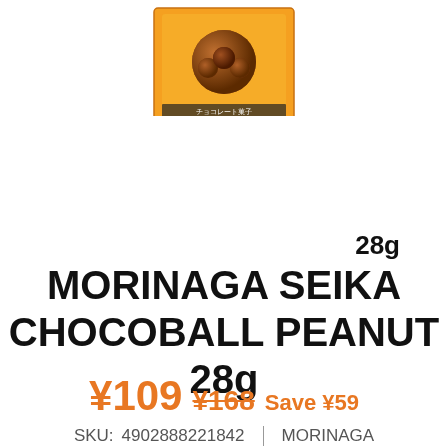[Figure (photo): Product photo of Morinaga Seika Chocoball Peanut 28g box, showing the orange packaging with a peanut chocolate illustration, partially cropped at the top of the page.]
28g MORINAGA SEIKA CHOCOBALL PEANUT 28g
¥109 ¥168 Save ¥59
SKU:  4902888221842  |  MORINAGA